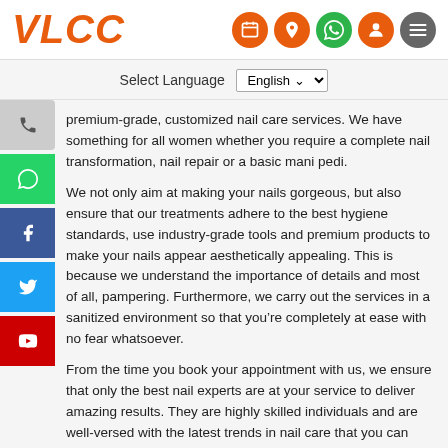VLCC
Select Language English
premium-grade, customized nail care services. We have something for all women whether you require a complete nail transformation, nail repair or a basic mani pedi.
We not only aim at making your nails gorgeous, but also ensure that our treatments adhere to the best hygiene standards, use industry-grade tools and premium products to make your nails appear aesthetically appealing. This is because we understand the importance of details and most of all, pampering. Furthermore, we carry out the services in a sanitized environment so that you’re completely at ease with no fear whatsoever.
From the time you book your appointment with us, we ensure that only the best nail experts are at your service to deliver amazing results. They are highly skilled individuals and are well-versed with the latest trends in nail care that you can choose without overstepping your budget because, be assured that we have something for everyone at our center!